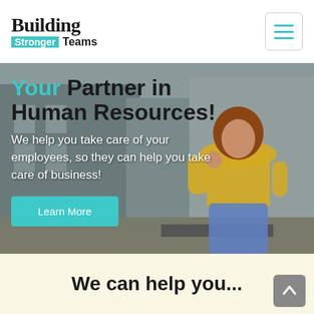Building Stronger Teams
[Figure (photo): Hero section with a woman in a yellow top sitting outdoors on a city street, over a blurred urban background]
Your Partner in Human Resources!
We help you take care of your employees, so they can help you take care of business!
Learn More
We can help you...